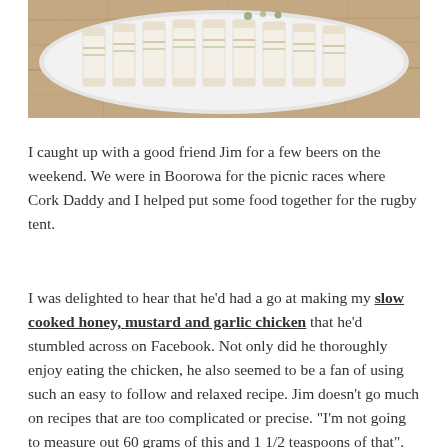[Figure (photo): Overhead photo of finger sandwiches arranged on a white rectangular plate, placed on a wooden surface (table). The sandwiches appear to be cut into small rectangles/fingers.]
I caught up with a good friend Jim for a few beers on the weekend. We were in Boorowa for the picnic races where Cork Daddy and I helped put some food together for the rugby tent.
I was delighted to hear that he'd had a go at making my slow cooked honey, mustard and garlic chicken that he'd stumbled across on Facebook. Not only did he thoroughly enjoy eating the chicken, he also seemed to be a fan of using such an easy to follow and relaxed recipe. Jim doesn't go much on recipes that are too complicated or precise. "I'm not going to measure out 60 grams of this and 1 1/2 teaspoons of that". Instead, he relates to the recipes that